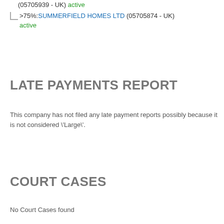(05705939 - UK) active
>75%:SUMMERFIELD HOMES LTD (05705874 - UK) active
LATE PAYMENTS REPORT
This company has not filed any late payment reports possibly because it is not considered \'Large\'.
COURT CASES
No Court Cases found